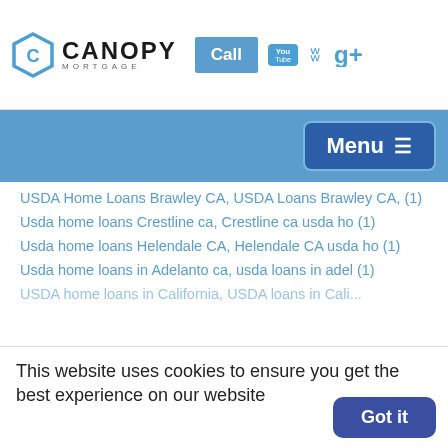[Figure (logo): Canopy Mortgage logo with hexagon icon, YouTube, Yelp, and Google+ social icons, and a Call button]
[Figure (screenshot): Blue navigation bar with Menu button and hamburger icon]
USDA Home Loans Brawley CA, USDA Loans Brawley CA, (1)
Usda home loans Crestline ca, Crestline ca usda ho (1)
Usda home loans Helendale CA, Helendale CA usda ho (1)
Usda home loans in Adelanto ca, usda loans in adel (1)
USDA home loans in California, USDA loans in Cali...
This website uses cookies to ensure you get the best experience on our website